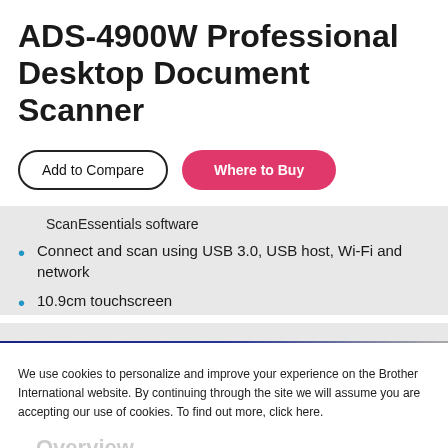ADS-4900W Professional Desktop Document Scanner
Add to Compare
Where to Buy
ScanEssentials software
Connect and scan using USB 3.0, USB host, Wi-Fi and network
10.9cm touchscreen
We use cookies to personalize and improve your experience on the Brother International website. By continuing through the site we will assume you are accepting our use of cookies. To find out more, click here.
Overview
Find out more
Accept
Capture. Optimize. Collaborate.